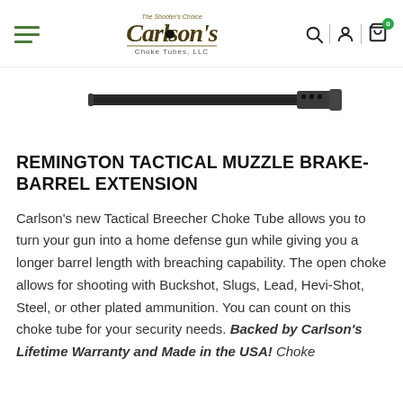Carlson's Choke Tubes, LLC
[Figure (photo): Product photo of a dark metallic shotgun barrel extension / muzzle brake, shown horizontally against a white background.]
REMINGTON TACTICAL MUZZLE BRAKE-BARREL EXTENSION
Carlson's new Tactical Breecher Choke Tube allows you to turn your gun into a home defense gun while giving you a longer barrel length with breaching capability. The open choke allows for shooting with Buckshot, Slugs, Lead, Hevi-Shot, Steel, or other plated ammunition. You can count on this choke tube for your security needs. Backed by Carlson's Lifetime Warranty and Made in the USA! Choke